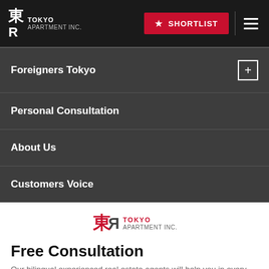Tokyo Apartment Inc. — SHORTLIST
Foreigners Tokyo
Personal Consultation
About Us
Customers Voice
[Figure (logo): Tokyo Apartment Inc. logo with red kanji characters and text]
Free Consultation
Our bilingual experienced real estate agents will help you in every step. Please let us know any questions or requests.
TOLL FREE    INTERNATIONAL